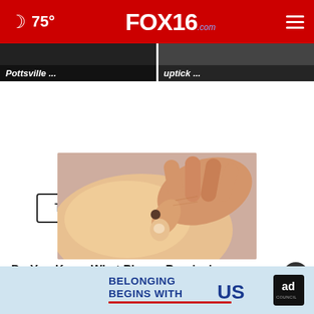75° FOX16.com
Pottsville ...
uptick ...
Top Stories ›
[Figure (photo): Hand scratching skin with a mole/spot visible on the skin surface, close-up medical photo on light purple background]
Do You Know What Plaque Psoriasis
[Figure (infographic): Ad Council advertisement banner with text 'BELONGING BEGINS WITH US' on light blue background]